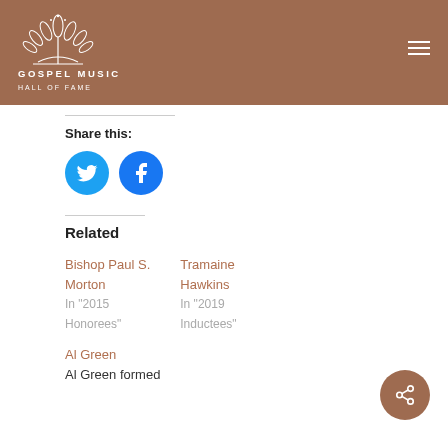GOSPEL MUSIC HALL OF FAME
Share this:
[Figure (logo): Twitter bird icon in blue circle and Facebook icon in blue circle]
Related
Bishop Paul S. Morton
In "2015 Honorees"
Tramaine Hawkins
In "2019 Inductees"
Al Green
Al Green formed